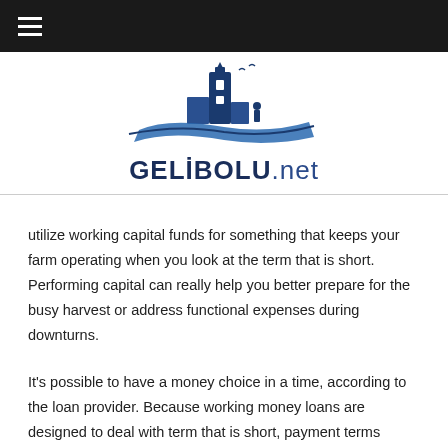[Figure (logo): GELIBOLU.net website logo with tower/monument silhouette and wave graphic above the text]
utilize working capital funds for something that keeps your farm operating when you look at the term that is short. Performing capital can really help you better prepare for the busy harvest or address functional expenses during downturns.
It's possible to have a money choice in a time, according to the loan provider. Because working money loans are designed to deal with term that is short, payment terms typical about